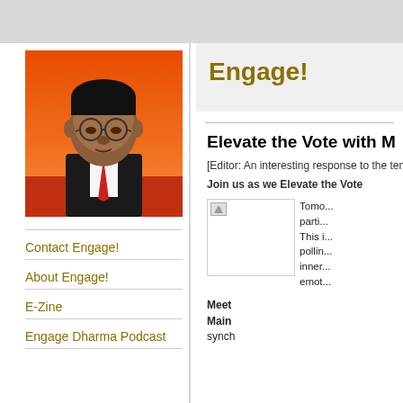[Figure (illustration): Portrait of Dr. B.R. Ambedkar against an orange sunset background, wearing suit and tie with glasses]
Contact Engage!
About Engage!
E-Zine
Engage Dharma Podcast
Engage!
Elevate the Vote with M
[Editor: An interesting response to the tensio... Join us as we Elevate the Vote
[Figure (photo): Broken/loading image placeholder]
Tomo... parti... This i... pollin... inner... emot...
Meet
Main
synch